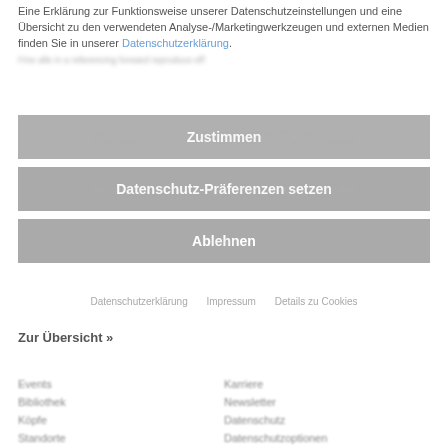Eine Erklärung zur Funktionsweise unserer Datenschutzeinstellungen und eine Übersicht zu den verwendeten Analyse-/Marketingwerkzeugen und externen Medien finden Sie in unserer Datenschutzerklärung.
Zustimmen
Datenschutz-Präferenzen setzen
Ablehnen
Datenschutzerklärung   Impressum   Details zu Cookies
Zur Übersicht »
Events
Bibliothek
Köpfe
Standorte
Mediathek
nglbety
Karriere
Newsletter
Datenschutz
Datenschutzoptionen
Impressum